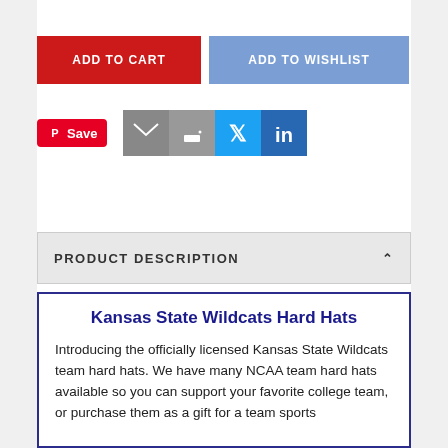[Figure (screenshot): ADD TO CART button (red) and ADD TO WISHLIST button (blue-gray)]
[Figure (screenshot): Social share buttons: Pinterest Save, email, print, Twitter, LinkedIn]
PRODUCT DESCRIPTION
Kansas State Wildcats Hard Hats
Introducing the officially licensed Kansas State Wildcats team hard hats. We have many NCAA team hard hats available so you can support your favorite college team, or purchase them as a gift for a team sports